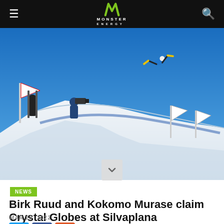Monster Energy
[Figure (photo): A freestyle skier performing an aerial trick high above a snow halfpipe/jump at a ski competition. Two spectators and a videographer stand on the snow ramp below. White competition banners visible. Clear blue sky background. Winter/ski event.]
NEWS
Birk Ruud and Kokomo Murase claim Crystal Globes at Silvaplana
MAR 28  2022